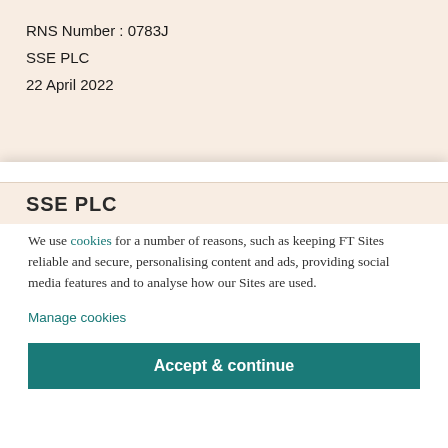RNS Number : 0783J
SSE PLC
22 April 2022
SSE PLC
Cookies on the FT
We use cookies for a number of reasons, such as keeping FT Sites reliable and secure, personalising content and ads, providing social media features and to analyse how our Sites are used.
Manage cookies
Accept & continue